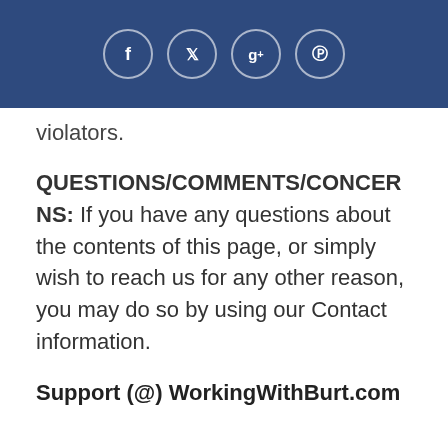[Figure (other): Social media icon bar with Facebook, Twitter, Google+, and Pinterest circular icons on a dark blue background]
violators.
QUESTIONS/COMMENTS/CONCERNS: If you have any questions about the contents of this page, or simply wish to reach us for any other reason, you may do so by using our Contact information.
Support (@) WorkingWithBurt.com